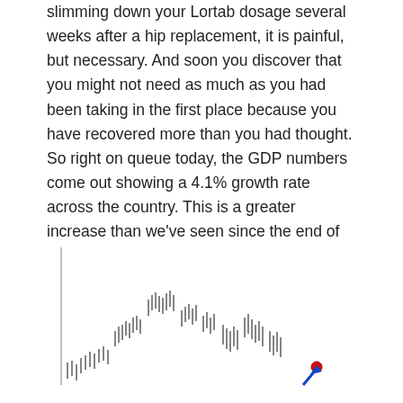slimming down your Lortab dosage several weeks after a hip replacement, it is painful, but necessary. And soon you discover that you might not need as much as you had been taking in the first place because you have recovered more than you had thought. So right on queue today, the GDP numbers come out showing a 4.1% growth rate across the country. This is a greater increase than we've seen since the end of 2011. A large portion of that growth came from a 2% increase in Consumer Spending—so your stocking should be full. You can see from the chart here that interest rates are most assuredly on the rise as prices fall following a very linear pattern; the big decrease two days ago and subsequent whip-saw is post-Fed reaction.
[Figure (continuous-plot): A financial candlestick/tick chart showing interest rate or price movements over time. The chart shows a general upward trend in rates with a notable spike/whipsaw pattern visible at the right side, consistent with a post-Fed reaction. A blue arrow with a red dot annotation appears at the bottom right of the chart.]